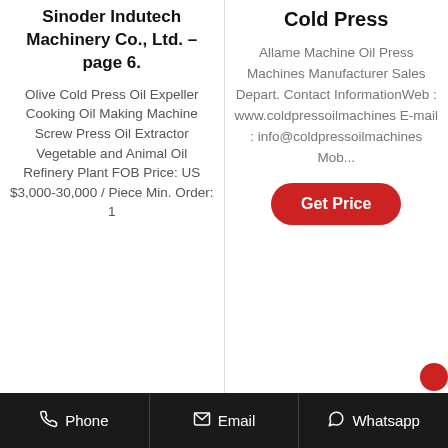Sinoder Indutech Machinery Co., Ltd. – page 6.
Olive Cold Press Oil Expeller Cooking Oil Making Machine Screw Press Oil Extractor Vegetable and Animal Oil Refinery Plant FOB Price: US $3,000-30,000 / Piece Min. Order: 1
Cold Press
Allame Machine Oil Press Machines Manufacturer Sales Depart. Contact InformationWeb : www.coldpressoilmachines E-mail : info@coldpressoilmachines Mob...
[Figure (other): Red 'Get Price' button]
Phone   Email   Whatsapp